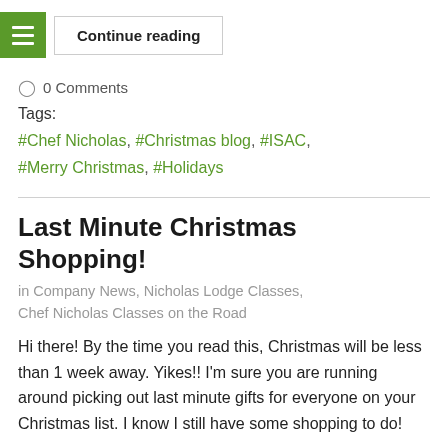Continue reading
0 Comments
Tags:
#Chef Nicholas, #Christmas blog, #ISAC, #Merry Christmas, #Holidays
Last Minute Christmas Shopping!
in Company News, Nicholas Lodge Classes, Chef Nicholas Classes on the Road
Hi there!  By the time you read this, Christmas will be less than 1 week away.  Yikes!!  I'm sure you are running around picking out last minute gifts for everyone on your Christmas list.  I know I still have some shopping to do!